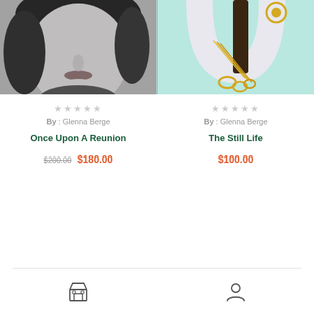[Figure (photo): Black and white close-up photo of a woman's face and neck, left product card]
★★★★★
By : Glenna Berge
Once Upon A Reunion
$200.00 $180.00
[Figure (photo): Color photo of gold jewelry chains and rings on a light blue background with a white curved shape, right product card]
★★★★★
By : Glenna Berge
The Still Life
$100.00
[Figure (other): Store/shop icon in footer navigation]
[Figure (other): Person/account icon in footer navigation]